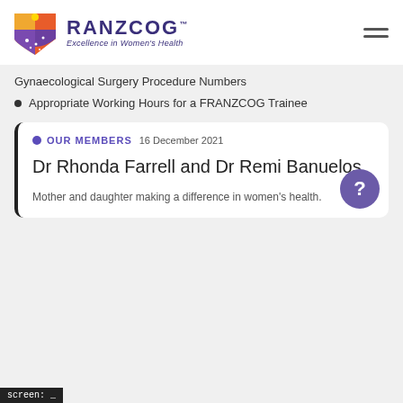[Figure (logo): RANZCOG logo with shield icon and text 'Excellence in Women's Health']
Gynaecological Surgery Procedure Numbers
Appropriate Working Hours for a FRANZCOG Trainee
OUR MEMBERS  16 December 2021
Dr Rhonda Farrell and Dr Remi Banuelos
Mother and daughter making a difference in women's health.